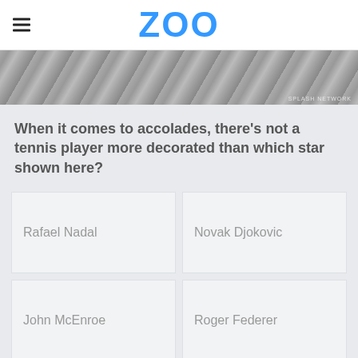ZOO
[Figure (photo): Grayscale hero image strip showing a tennis player, partially cropped]
When it comes to accolades, there's not a tennis player more decorated than which star shown here?
Rafael Nadal
Novak Djokovic
John McEnroe
Roger Federer
Advertisement